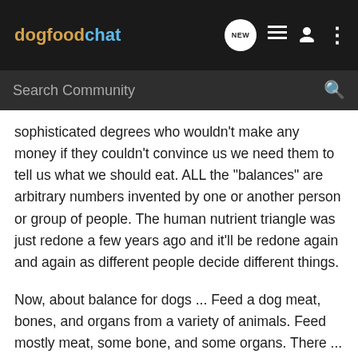dogfoodchat
Search Community
sophisticated degrees who wouldn't make any money if they couldn't convince us we need them to tell us what we should eat. ALL the "balances" are arbitrary numbers invented by one or another person or group of people. The human nutrient triangle was just redone a few years ago and it'll be redone again and again as different people decide different things.
Now, about balance for dogs ... Feed a dog meat, bones, and organs from a variety of animals. Feed mostly meat, some bone, and some organs. There ... thats balance. Nature has taken care of that for you. No need to worry about specific numbers. They really don't mean much. The only really even close to important number is carbs. The number of carbs you should feed yoru dog is exactly ZERO.